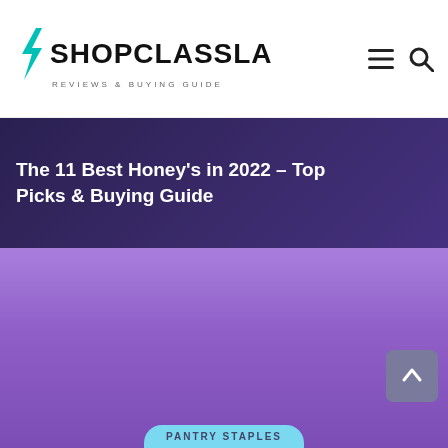SHOPCLASSLA — REVIEWS & BUYING GUIDE
The 11 Best Honey's in 2022 – Top Picks & Buying Guide
[Figure (photo): Purple/lavender colored placeholder image for a honey product article]
PANTRY STAPLES